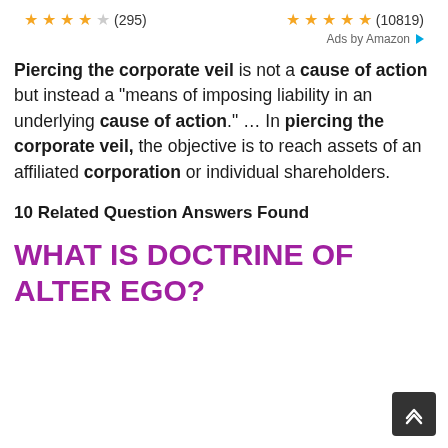[Figure (other): Two product listings with star ratings: first showing 4 out of 5 stars (295 reviews), second showing 5 out of 5 stars (10819 reviews). Ads by Amazon label with arrow icon.]
Piercing the corporate veil is not a cause of action but instead a "means of imposing liability in an underlying cause of action." ... In piercing the corporate veil, the objective is to reach assets of an affiliated corporation or individual shareholders.
10 Related Question Answers Found
WHAT IS DOCTRINE OF ALTER EGO?